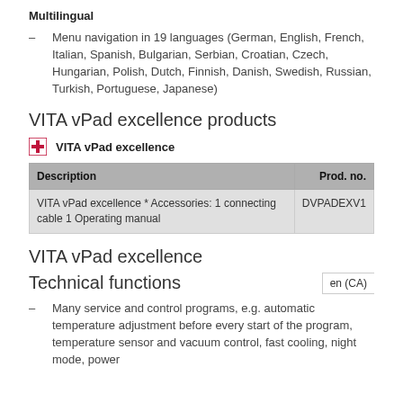Multilingual
Menu navigation in 19 languages (German, English, French, Italian, Spanish, Bulgarian, Serbian, Croatian, Czech, Hungarian, Polish, Dutch, Finnish, Danish, Swedish, Russian, Turkish, Portuguese, Japanese)
VITA vPad excellence products
VITA vPad excellence
| Description | Prod. no. |
| --- | --- |
| VITA vPad excellence * Accessories: 1 connecting cable 1 Operating manual | DVPADEXV1 |
VITA vPad excellence
Technical functions
Many service and control programs, e.g. automatic temperature adjustment before every start of the program, temperature sensor and vacuum control, fast cooling, night mode, power